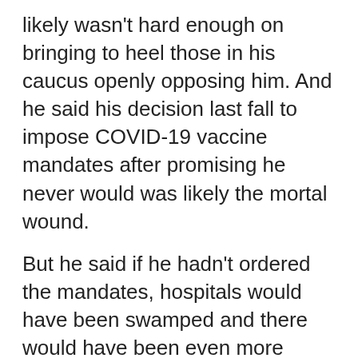likely wasn't hard enough on bringing to heel those in his caucus openly opposing him. And he said his decision last fall to impose COVID-19 vaccine mandates after promising he never would was likely the mortal wound.
But he said if he hadn't ordered the mandates, hospitals would have been swamped and there would have been even more deaths, tragedy and misery.
“I knew at the time that that (decision) might be the end of my political career, but I did it with a clear conscience and I would do it again,” he said.
Kenney said he won't endorse a candidate to replace him, adding any cabinet minister who